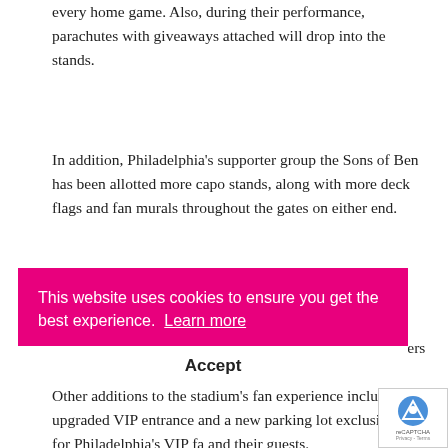every home game. Also, during their performance, parachutes with giveaways attached will drop into the stands.
In addition, Philadelphia's supporter group the Sons of Ben has been allotted more capo stands, along with more deck flags and fan murals throughout the gates on either end.
There will be new enormous banners accompanying each team's procession onto the field, while during special games, the official game ball with be delivered by skydivers descending into Talen Energy Stadium.
This website uses cookies to ensure you get the best experience. Learn more
Accept
Other additions to the stadium's fan experience include an upgraded VIP entrance and a new parking lot exclusively for Philadelphia's VIP fa and their guests.